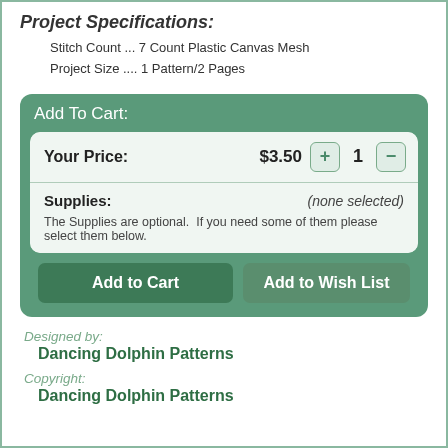Project Specifications:
Stitch Count ... 7 Count Plastic Canvas Mesh
Project Size .... 1 Pattern/2 Pages
Add To Cart:
Your Price: $3.50  1
Supplies: (none selected)
The Supplies are optional.  If you need some of them please select them below.
Add to Cart   Add to Wish List
Designed by:
Dancing Dolphin Patterns
Copyright:
Dancing Dolphin Patterns